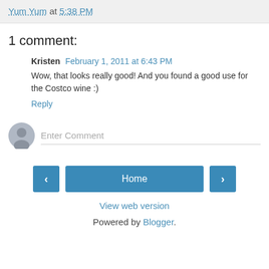Yum Yum at 5:38 PM
1 comment:
Kristen February 1, 2011 at 6:43 PM
Wow, that looks really good! And you found a good use for the Costco wine :)
Reply
Enter Comment
Home
View web version
Powered by Blogger.